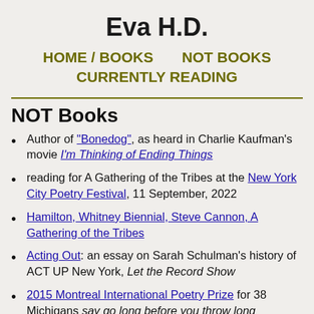Eva H.D.
HOME / BOOKS     NOT BOOKS
CURRENTLY READING
NOT Books
Author of "Bonedog", as heard in Charlie Kaufman's movie I'm Thinking of Ending Things
reading for A Gathering of the Tribes at the New York City Poetry Festival, 11 September, 2022
Hamilton, Whitney Biennial, Steve Cannon, A Gathering of the Tribes
Acting Out: an essay on Sarah Schulman's history of ACT UP New York, Let the Record Show
2015 Montreal International Poetry Prize for 38 Michigans say go long before you throw long